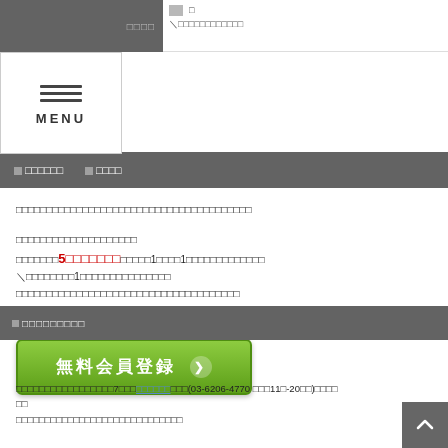MENU navigation bar with Japanese text links
Japanese body text paragraph 1
Japanese body text paragraph 2 with red bold 5 character
※ Japanese note text
Japanese body text line
Japanese body text line 2
[Figure (other): Green CTA button with Japanese text 無料会員登録 and right arrow]
Japanese section header (footer area)
Japanese footer text with phone number (03-6206-4770) and hours (11時-20時)
Japanese footer text line 2